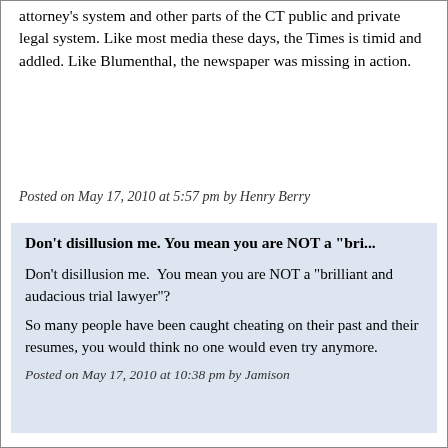attorney's system and other parts of the CT public and private legal system. Like most media these days, the Times is timid and addled. Like Blumenthal, the newspaper was missing in action.
Posted on May 17, 2010 at 5:57 pm by Henry Berry
Don't disillusion me. You mean you are NOT a "bri...
Don't disillusion me. You mean you are NOT a "brilliant and audacious trial lawyer"?
So many people have been caught cheating on their past and their resumes, you would think no one would even try anymore.
Posted on May 17, 2010 at 10:38 pm by Jamison